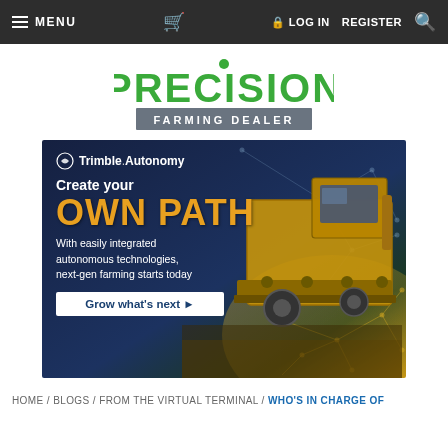MENU  [cart]  LOG IN  REGISTER  [search]
[Figure (logo): Precision Farming Dealer logo — PRECISION in large green bold text, FARMING DEALER in white on grey bar beneath]
[Figure (advertisement): Trimble Autonomy advertisement banner. Dark navy blue background with a yellow combine harvester and network graph overlay. Text: Trimble Autonomy / Create your / OWN PATH / With easily integrated autonomous technologies, next-gen farming starts today / Grow what's next ▶]
HOME / BLOGS / FROM THE VIRTUAL TERMINAL / WHO'S IN CHARGE OF